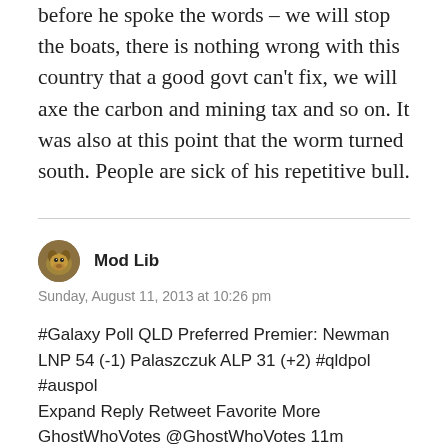before he spoke the words – we will stop the boats, there is nothing wrong with this country that a good govt can't fix, we will axe the carbon and mining tax and so on. It was also at this point that the worm turned south. People are sick of his repetitive bull.
Mod Lib
Sunday, August 11, 2013 at 10:26 pm
#Galaxy Poll QLD Preferred Premier: Newman LNP 54 (-1) Palaszczuk ALP 31 (+2) #qldpol #auspol
Expand Reply Retweet Favorite More
GhostWhoVotes @GhostWhoVotes 11m
#Galaxy Poll QLD State 2 Party Preferred: LNP